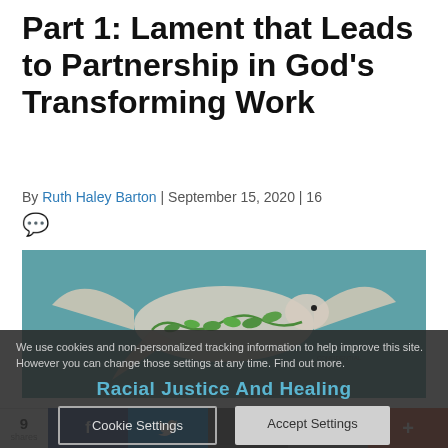Part 1: Lament that Leads to Partnership in God's Transforming Work
By Ruth Haley Barton | September 15, 2020 | 16 💬
[Figure (illustration): A dove made from a map/collage with a green olive branch, set against a teal background with crowd imagery. Overlaid with a cookie consent banner reading 'We use cookies and non-personalized tracking information to help improve this site. However you can change those settings at any time. Find out more.' and 'Racial Justice And Healing' text, plus Cookie Settings and Accept Settings buttons.]
9 | f | 🐦 | 🖨 | ✉ | +